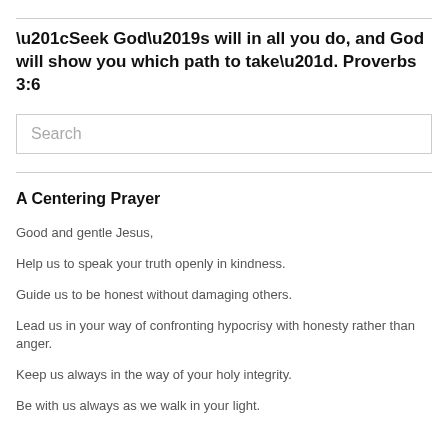“Seek God’s will in all you do, and God will show you which path to take”. Proverbs 3:6
[Figure (other): Search input box with placeholder text 'Search']
A Centering Prayer
Good and gentle Jesus,
Help us to speak your truth openly in kindness.
Guide us to be honest without damaging others.
Lead us in your way of confronting hypocrisy with honesty rather than anger.
Keep us always in the way of your holy integrity.
Be with us always as we walk in your light.